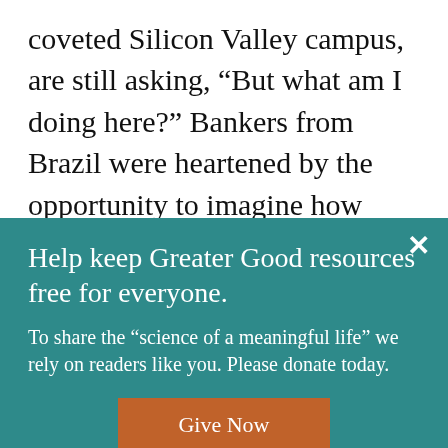coveted Silicon Valley campus, are still asking, “But what am I doing here?” Bankers from Brazil were heartened by the opportunity to imagine how practices like affirming values, active listening, and expressing gratitude can build greater shared purpose amongst a workforce and measurably
Help keep Greater Good resources free for everyone.
To share the “science of a meaningful life” we rely on readers like you. Please donate today.
Give Now